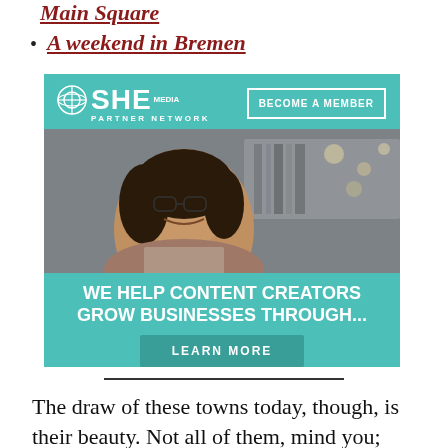Main Square
A weekend in Bremen
[Figure (illustration): SHE Media Partner Network advertisement banner. Teal/turquoise background. Top section shows SHE Media logo and 'BECOME A MEMBER' button. Middle section shows a smiling woman with glasses and curly hair holding a laptop. Bottom section has text 'WE HELP CONTENT CREATORS GROW BUSINESSES THROUGH...' and a 'LEARN MORE' button.]
The draw of these towns today, though, is their beauty. Not all of them, mind you;